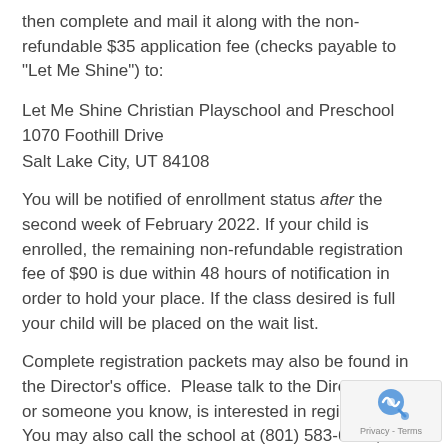then complete and mail it along with the non-refundable $35 application fee (checks payable to "Let Me Shine") to:
Let Me Shine Christian Playschool and Preschool
1070 Foothill Drive
Salt Lake City, UT 84108
You will be notified of enrollment status after the second week of February 2022. If your child is enrolled, the remaining non-refundable registration fee of $90 is due within 48 hours of notification in order to hold your place. If the class desired is full your child will be placed on the wait list.
Complete registration packets may also be found in the Director's office.  Please talk to the Director if you, or someone you know, is interested in registration.  You may also call the school at (801) 583-6400, or through the easy to use contact form.
A non-refundable Registration/Activity fee of $125. required from all enrollees.